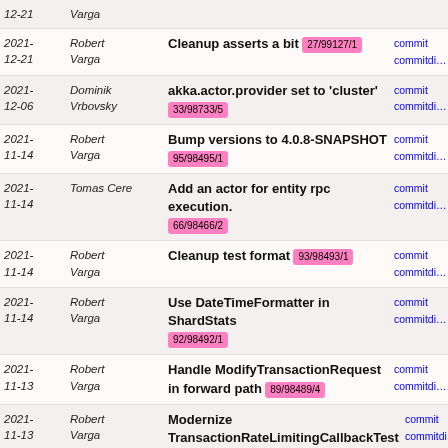2021-12-21 Robert Varga | Cleanup asserts a bit 27/99127/1 | commit | commitdiff
2021-12-06 Dominik Vrbovsky | akka.actor.provider set to 'cluster' 33/98733/5 | commit | commitdiff
2021-11-14 Robert Varga | Bump versions to 4.0.8-SNAPSHOT 95/98495/1 | commit | commitdiff
2021-11-14 Tomas Cere | Add an actor for entity rpc execution. 66/98466/2 | commit | commitdiff
2021-11-14 Robert Varga | Cleanup test format 93/98493/1 | commit | commitdiff
2021-11-14 Robert Varga | Use DateTimeFormatter in ShardStats 92/98492/1 | commit | commitdiff
2021-11-13 Robert Varga | Handle ModifyTransactionRequest in forward path 89/98489/4 | commit | commitdiff
2021-11-13 Robert Varga | Modernize TransactionRateLimitingCallbackTest 85/98485/3 | commit | commitdiff
2021-11-13 Robert Varga | Modernize ThreePhaseCommitCohortProxyTest 84/98484/3 | commit | commitdiff
2021-11-13 Robert Varga | Cleanup AbstractDOMBrokerWriteTransactionTest 83/98483/3 | commit | commitdiff
2021-11-13 Robert Varga | Clean up ClientBackedReadTransactionTest 82/98482/3 | commit | commitdiff